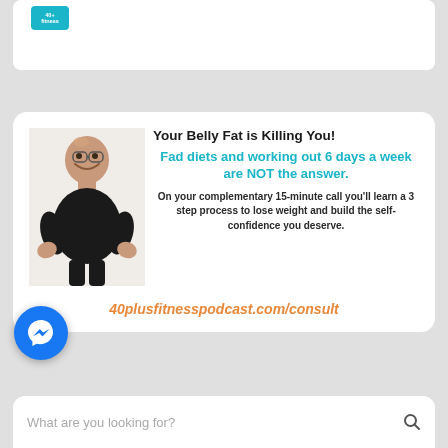[Figure (screenshot): Top partial white card with teal badge/logo visible at top]
[Figure (illustration): Advertisement card: man in black shirt smiling with hands on hips, text about belly fat and fitness consultation]
Your Belly Fat is Killing You!
Fad diets and working out 6 days a week are NOT the answer.
On your complementary 15-minute call you'll learn a 3 step process to lose weight and build the self-confidence you deserve.
40plusfitnesspodcast.com/consult
[Figure (logo): Facebook Messenger blue circle button with lightning bolt icon]
What are you looking for?